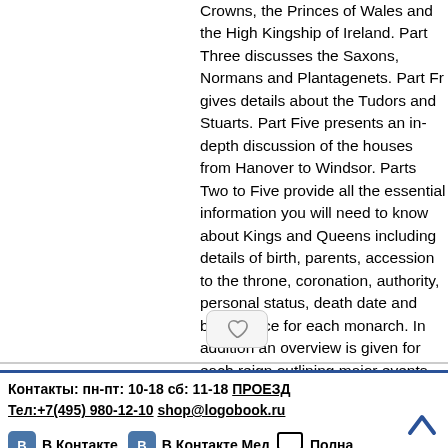Crowns, the Princes of Wales and the High Kingship of Ireland. Part Three discusses the Saxons, Normans and Plantagenets. Part Four gives details about the Tudors and Stuarts. Part Five presents an in-depth discussion of the houses from Hanover to Windsor. Parts Two to Five provide all the essential information you will need to know about Kings and Queens including details of birth, parents, accession to the throne, coronation, authority, personal status, death date and burial place for each monarch. In addition an overview is given for each reign outlining major events and personal tragedies, war, celebrations and conspiracies.
[Figure (other): Heart/like button icon]
Контакты: пн-пт: 10-18 сб: 11-18 ПРОЕЗД Тел:+7(495) 980-12-10 shop@logobook.ru
[Figure (logo): VKontakte social media button]
В Контакте
[Figure (logo): VKontakte Med social media button]
В Контакте Мед
[Figure (other): Monitor/desktop icon for full version link]
Полная версия .